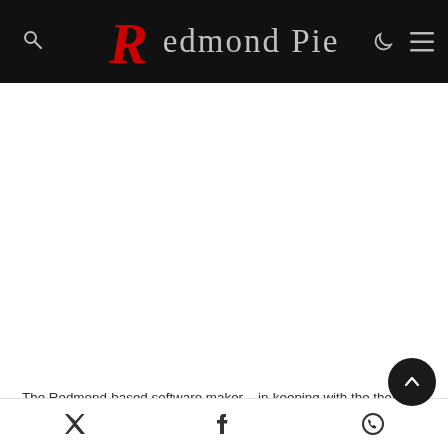Redmond Pie
[Figure (other): White advertisement/content area placeholder]
The Redmond-based software maker – in-keeping with the theme of making naming alterations – seems to have broken the mold in titling what we believe is usually referred to as the Release Candidate. Unfortunately, no more details have
Twitter, Facebook, WhatsApp share icons